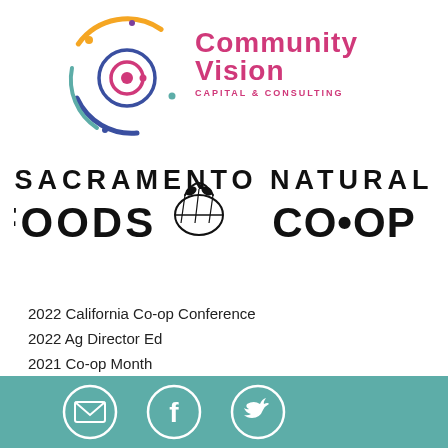[Figure (logo): Community Vision Capital & Consulting logo with circular colorful icon and text]
[Figure (logo): Sacramento Natural Foods Co-op logo in bold black uppercase text with basket illustration]
2022 California Co-op Conference
2022 Ag Director Ed
2021 Co-op Month
2020 Webinars
[Figure (illustration): Teal footer bar with email, Facebook, and Twitter icon circles in white outline]